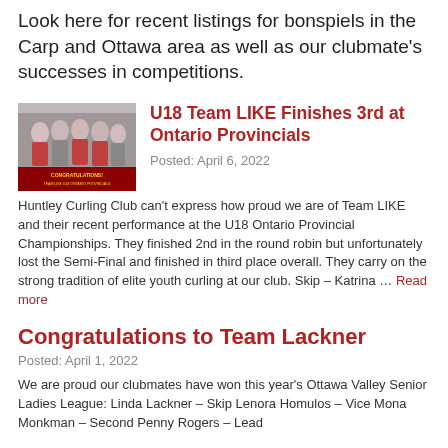Look here for recent listings for bonspiels in the Carp and Ottawa area as well as our clubmate's successes in competitions.
[Figure (photo): Group photo of young female curlers with a red congratulations banner at the bottom]
U18 Team LIKE Finishes 3rd at Ontario Provincials
Posted: April 6, 2022
Huntley Curling Club can't express how proud we are of Team LIKE and their recent performance at the U18 Ontario Provincial Championships. They finished 2nd in the round robin but unfortunately lost the Semi-Final and finished in third place overall. They carry on the strong tradition of elite youth curling at our club. Skip – Katrina … Read more
Congratulations to Team Lackner
Posted: April 1, 2022
We are proud our clubmates have won this year's Ottawa Valley Senior Ladies League: Linda Lackner – Skip Lenora Homulos – Vice Mona Monkman – Second Penny Rogers – Lead